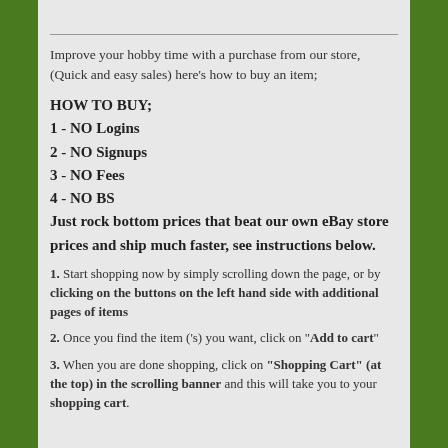Improve your hobby time with a purchase from our store, (Quick and easy sales) here's how to buy an item;
HOW TO BUY;
1 - NO Logins
2 - NO Signups
3 - NO Fees
4 - NO BS
Just rock bottom prices that beat our own eBay store prices and ship much faster, see instructions below.
1. Start shopping now by simply scrolling down the page, or by clicking on the buttons on the left hand side with additional pages of items
2. Once you find the item ('s) you want, click on "Add to cart"
3. When you are done shopping, click on "Shopping Cart" (at the top) in the scrolling banner and this will take you to your shopping cart.